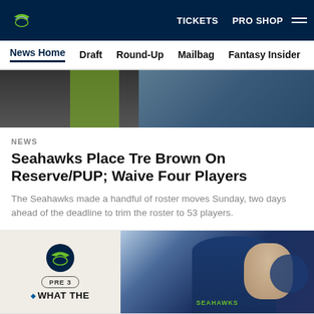TICKETS  PRO SHOP
News Home  Draft  Round-Up  Mailbag  Fantasy Insider  Roste
[Figure (photo): Partial hero image showing Seattle Seahawks players and staff, cropped from top]
NEWS
Seahawks Place Tre Brown On Reserve/PUP; Waive Four Players
The Seahawks made a handful of roster moves Sunday, two days ahead of the deadline to trim the roster to 53 players.
[Figure (photo): Left card: Seahawks logo with PRE 3 badge and 'WHAT THE' text. Right card: Photo of Pete Carroll (head coach) wearing Seahawks gear and headset on sideline.]
[Figure (infographic): Social share buttons row: Facebook, Twitter, Email, Link icons in circular borders]